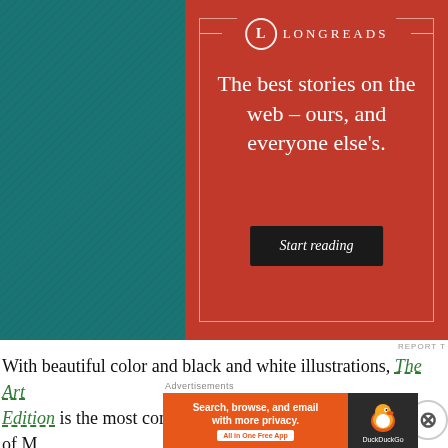[Figure (screenshot): Longreads advertisement on red background with tagline 'The best stories on the web – ours, and everyone else's.' and a 'Start reading' button. Set over a teal textured background.]
With beautiful color and black and white illustrations, The Art Edition is the most comprehensive overview ever published of Walker includes his trademark paintings from the great Perry Gardner's crime books, Stephen D. Frances' Hank Janson bo
[Figure (screenshot): DuckDuckGo advertisement: 'Search, browse, and email with more privacy. All in One Free App' with DuckDuckGo logo on dark background.]